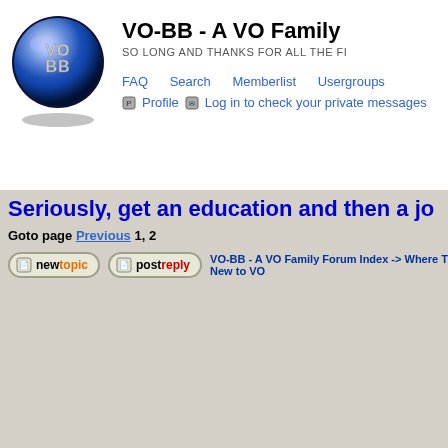[Figure (logo): VO-BB globe logo — a shiny blue metallic sphere with 'VO-BB' text on it, on a dark background with a shadow beneath]
VO-BB - A VO Family
SO LONG AND THANKS FOR ALL THE FI
FAQ   Search   Memberlist   Usergroups
Profile   Log in to check your private messages
Seriously, get an education and then a jo
Goto page Previous  1, 2
VO-BB - A VO Family Forum Index -> Where T New to VO
| Author | Message |
| --- | --- |
| View previous topic :: View |  |
| SherryRichelle

Joined: 07 Oct 2021
Posts: 7
Location: Ooooooklahoma | Posted: Wed Oct 20, 2021 8:35 am    Post subject:

I'm a bit of an information and knowledge connoiss boy, this industry has a ton of it out there. When m began in late 2018, I googled, youtubed, and facel |